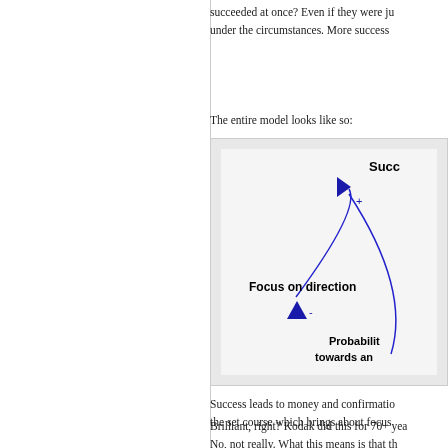succeeded at once? Even if they were ju... under the circumstances. More success...
The entire model looks like so:
[Figure (flowchart): A feedback loop diagram showing 'Focus on direction' on the left with a blue curved arrow going up-right to 'Succ...' (Success) with a '+' sign near the arrowhead, and another blue arrow pointing down from that area back toward 'Focus on direction' with a '-' sign. At the bottom right: 'Probability towards an...' The arrows form a loop cycle.]
Success leads to money and confirmatio... the set course which brings about focus ...
Brilliant, right? Kodak did this for 70+ yea...
No, not really. What this means is that th...